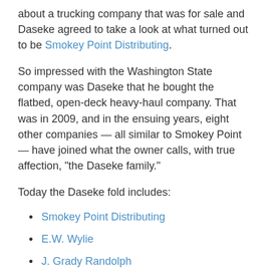about a trucking company that was for sale and Daseke agreed to take a look at what turned out to be Smokey Point Distributing.
So impressed with the Washington State company was Daseke that he bought the flatbed, open-deck heavy-haul company. That was in 2009, and in the ensuing years, eight other companies — all similar to Smokey Point — have joined what the owner calls, with true affection, "the Daseke family."
Today the Daseke fold includes:
Smokey Point Distributing
E.W. Wylie
J. Grady Randolph
Central Oregon Truck Company
Lone Star Transportation
Bulldog Hiway Express